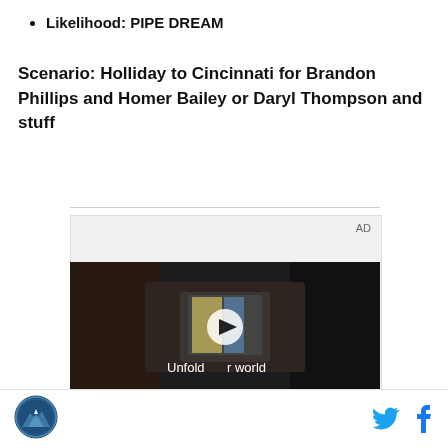Likelihood: PIPE DREAM
Scenario: Holliday to Cincinnati for Brandon Phillips and Homer Bailey or Daryl Thompson and stuff
[Figure (other): AD label with video thumbnail showing a person in a car holding a foldable phone with text 'Unfold your world' and a play button overlay]
Site logo and social media icons (Twitter and Facebook)